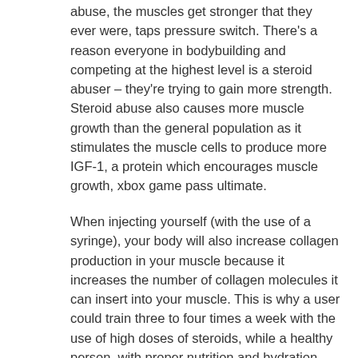abuse, the muscles get stronger that they ever were, taps pressure switch. There's a reason everyone in bodybuilding and competing at the highest level is a steroid abuser – they're trying to gain more strength. Steroid abuse also causes more muscle growth than the general population as it stimulates the muscle cells to produce more IGF-1, a protein which encourages muscle growth, xbox game pass ultimate.
When injecting yourself (with the use of a syringe), your body will also increase collagen production in your muscle because it increases the number of collagen molecules it can insert into your muscle. This is why a user could train three to four times a week with the use of high doses of steroids, while a healthy person, with proper nutrition and hydration, wouldn't be able to train five hours per day.